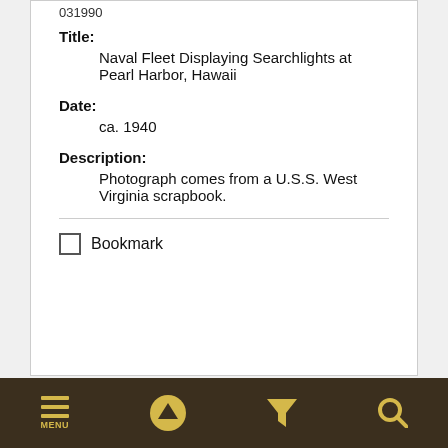031990
Title:
Naval Fleet Displaying Searchlights at Pearl Harbor, Hawaii
Date:
ca. 1940
Description:
Photograph comes from a U.S.S. West Virginia scrapbook.
Bookmark
[Figure (photo): Partial view of a historical photograph from a scrapbook, showing a dark/gray image strip at the bottom of the page.]
MENU navigation bar with menu, up arrow, filter, and search icons